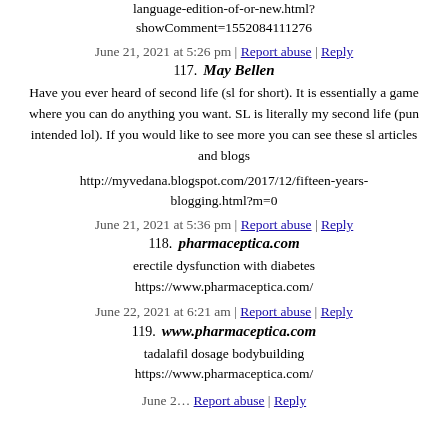language-edition-of-or-new.html?
showComment=1552084111276
June 21, 2021 at 5:26 pm | Report abuse | Reply
117. May Bellen
Have you ever heard of second life (sl for short). It is essentially a game where you can do anything you want. SL is literally my second life (pun intended lol). If you would like to see more you can see these sl articles and blogs
http://myvedana.blogspot.com/2017/12/fifteen-years-blogging.html?m=0
June 21, 2021 at 5:36 pm | Report abuse | Reply
118. pharmaceptica.com
erectile dysfunction with diabetes
https://www.pharmaceptica.com/
June 22, 2021 at 6:21 am | Report abuse | Reply
119. www.pharmaceptica.com
tadalafil dosage bodybuilding
https://www.pharmaceptica.com/